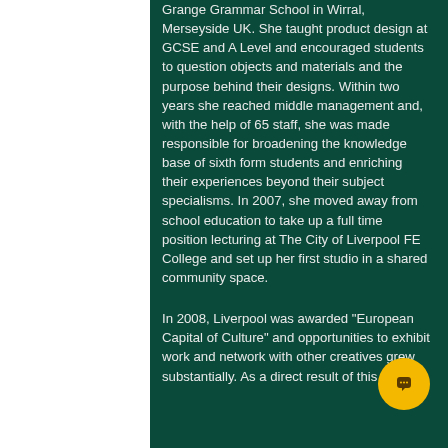Grange Grammar School in Wirral, Merseyside UK. She taught product design at GCSE and A Level and encouraged students to question objects and materials and the purpose behind their designs. Within two years she reached middle management and, with the help of 65 staff, she was made responsible for broadening the knowledge base of sixth form students and enriching their experiences beyond their subject specialisms. In 2007, she moved away from school education to take up a full time position lecturing at The City of Liverpool FE College and set up her first studio in a shared community space.
In 2008, Liverpool was awarded "European Capital of Culture" and opportunities to exhibit work and network with other creatives grew substantially. As a direct result of this Lisa